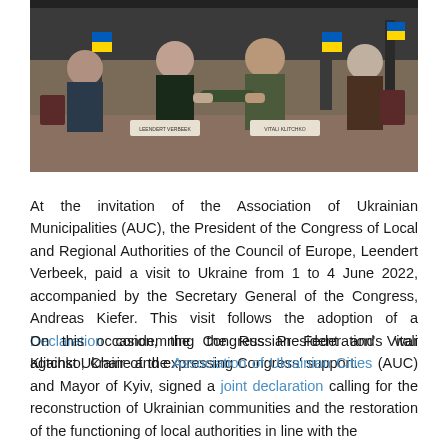[Figure (photo): Official meeting photo showing several people in formal and military attire shaking hands at a table with Ukrainian flags in the background. Name placards visible on the table.]
At the invitation of the Association of Ukrainian Municipalities (AUC), the President of the Congress of Local and Regional Authorities of the Council of Europe, Leendert Verbeek, paid a visit to Ukraine from 1 to 4 June 2022, accompanied by the Secretary General of the Congress, Andreas Kiefer. This visit follows the adoption of a Declaration condemning the Russian Federation's war against Ukraine and expressing Congress' support.
On this occasion, the Congress President and Vitali Klitchko, Chair of the Association of Ukrainian Cities (AUC) and Mayor of Kyiv, signed a joint declaration calling for the reconstruction of Ukrainian communities and the restoration of the functioning of local authorities in line with the